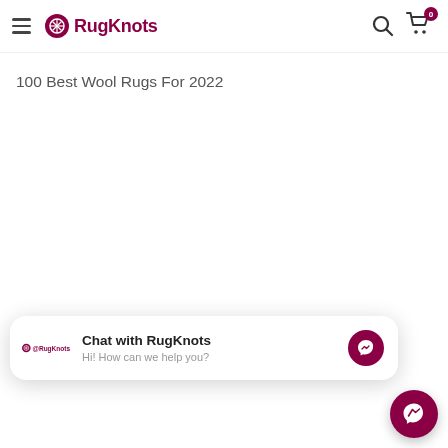RugKnots — navigation bar with hamburger menu, logo, search icon, and cart with badge 0
100 Best Wool Rugs For 2022
[Figure (screenshot): Chat widget popup: RugKnots logo, 'Chat with RugKnots', 'Hi! How can we help you?', and Messenger icon button]
[Figure (screenshot): Messenger floating action button (dark red circle with lightning bolt icon)]